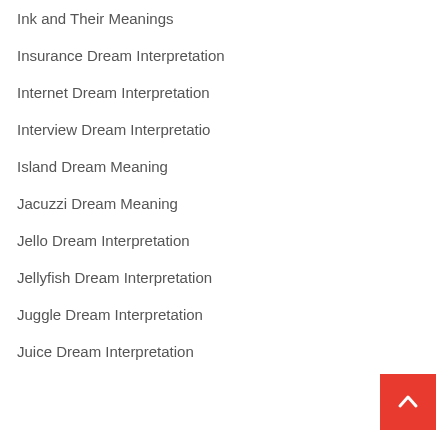Ink and Their Meanings
Insurance Dream Interpretation
Internet Dream Interpretation
Interview Dream Interpretatio
Island Dream Meaning
Jacuzzi Dream Meaning
Jello Dream Interpretation
Jellyfish Dream Interpretation
Juggle Dream Interpretation
Juice Dream Interpretation